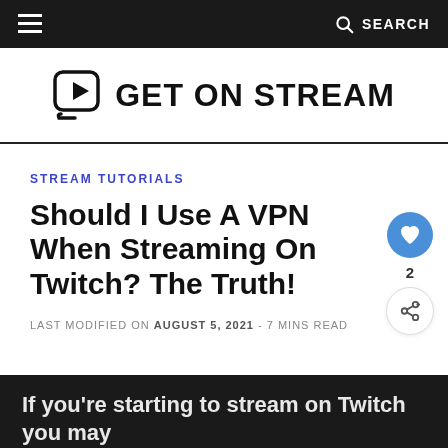≡   🔍 SEARCH
[Figure (logo): Get On Stream logo with speech bubble play button icon and bold text GET ON STREAM]
STREAM TUTORIALS
Should I Use A VPN When Streaming On Twitch? The Truth!
LAST MODIFIED ON AUGUST 5, 2021 - 7 MINS READ
If you're starting to stream on Twitch you may